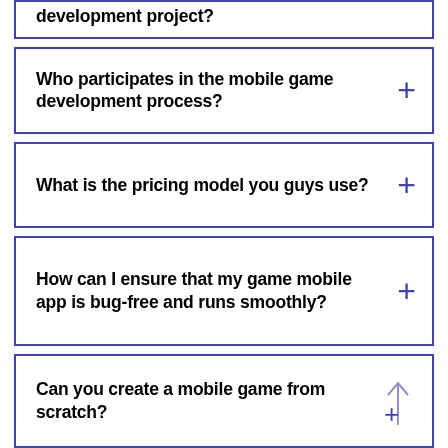development project?
Who participates in the mobile game development process?
What is the pricing model you guys use?
How can I ensure that my game mobile app is bug-free and runs smoothly?
Can you create a mobile game from scratch?